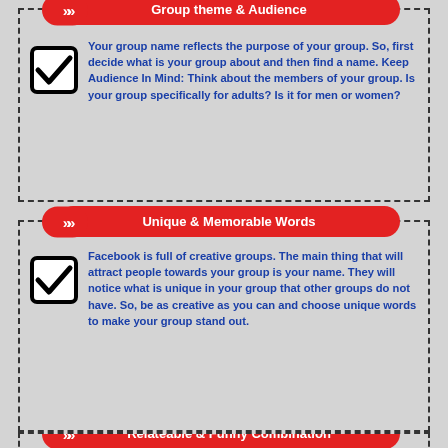Group theme & Audience
Your group name reflects the purpose of your group. So, first decide what is your group about and then find a name. Keep Audience In Mind: Think about the members of your group. Is your group specifically for adults? Is it for men or women?
Unique & Memorable Words
Facebook is full of creative groups. The main thing that will attract people towards your group is your name. They will notice what is unique in your group that other groups do not have. So, be as creative as you can and choose unique words to make your group stand out.
Relateable & Funny Combination